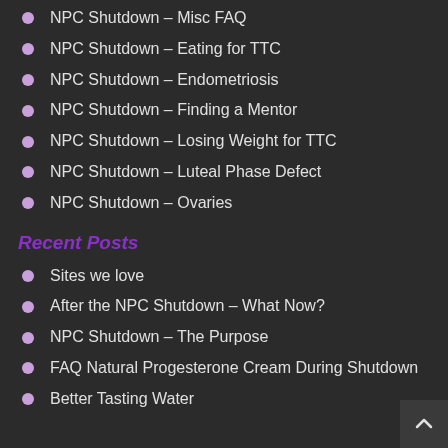NPC Shutdown – Misc FAQ
NPC Shutdown – Eating for TTC
NPC Shutdown – Endometriosis
NPC Shutdown – Finding a Mentor
NPC Shutdown – Losing Weight for TTC
NPC Shutdown – Luteal Phase Defect
NPC Shutdown – Ovaries
Recent Posts
Sites we love
After the NPC Shutdown – What Now?
NPC Shutdown – The Purpose
FAQ Natural Progesterone Cream During Shutdown
Better Tasting Water